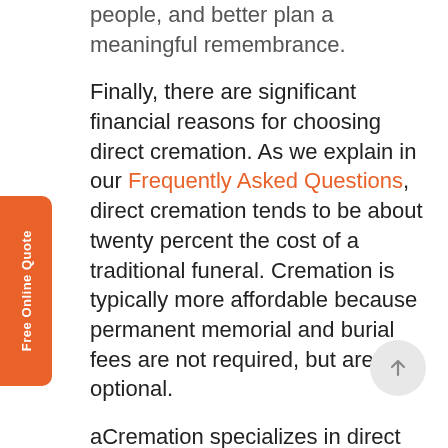people, and better plan a meaningful remembrance.
Finally, there are significant financial reasons for choosing direct cremation. As we explain in our Frequently Asked Questions, direct cremation tends to be about twenty percent the cost of a traditional funeral. Cremation is typically more affordable because permanent memorial and burial fees are not required, but are optional.
aCremation specializes in direct cremation in Texas and direct